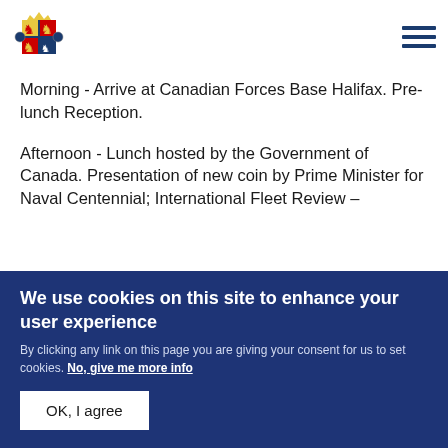[UK Government coat of arms logo] [hamburger menu]
Morning - Arrive at Canadian Forces Base Halifax. Pre-lunch Reception.
Afternoon - Lunch hosted by the Government of Canada. Presentation of new coin by Prime Minister for Naval Centennial; International Fleet Review –
We use cookies on this site to enhance your user experience
By clicking any link on this page you are giving your consent for us to set cookies. No, give me more info
OK, I agree